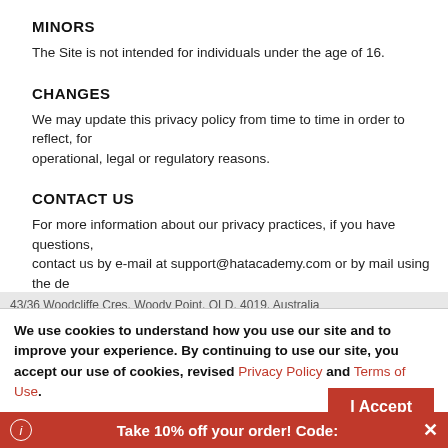MINORS
The Site is not intended for individuals under the age of 16.
CHANGES
We may update this privacy policy from time to time in order to reflect, for operational, legal or regulatory reasons.
CONTACT US
For more information about our privacy practices, if you have questions, contact us by e-mail at support@hatacademy.com or by mail using the de
43/36 Woodcliffe Cres, Woody Point, QLD, 4019, Australia
We use cookies to understand how you use our site and to improve your experience. By continuing to use our site, you accept our use of cookies, revised Privacy Policy and Terms of Use.
I Accept
Take 10% off your order! Code: